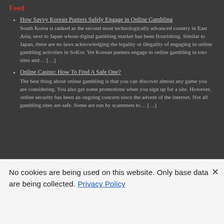Feed
How Savvy Korean Punters Safely Engage in Online Gambling
South Korea is ranked as the second most technologically advanced country in East Asia, next to Japan whose digital gambling market has been flourishing. Similar to Japan, there are no laws acknowledging the legality or illegality of engaging in online gambling activities in SoKor. Yet Korean punters engage in online gambling in toto sites and… […]
Online Casino: How To Find A Safe One?
The best thing about online gambling is that you can discover almost any game you are considering. You also get some promotions when you sign up for a site. However, online security has been an ongoing concern since the advent of the internet. Not all gambling sites are safe. Some are run by scammers to… […]
No cookies are being used on this website. Only base data are being collected. Privacy Policy